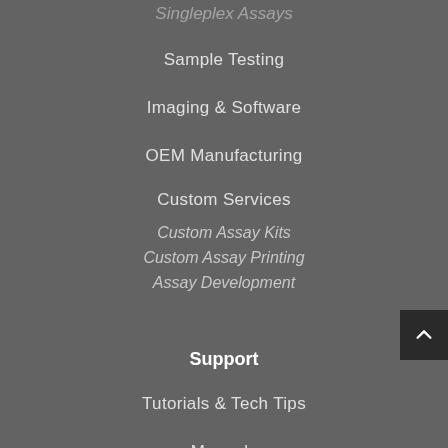Singleplex Assays
Sample Testing
Imaging & Software
OEM Manufacturing
Custom Services
Custom Assay Kits
Custom Assay Printing
Assay Development
Support
Tutorials & Tech Tips
Manuals